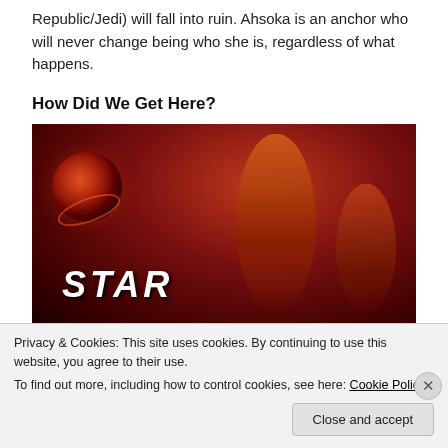Republic/Jedi) will fall into ruin. Ahsoka is an anchor who will never change being who she is, regardless of what happens.
How Did We Get Here?
[Figure (photo): Star Wars movie poster with red dramatic background, planet orb on left, central figure of Anakin Skywalker, and other characters, with STAR text visible at bottom]
Privacy & Cookies: This site uses cookies. By continuing to use this website, you agree to their use.
To find out more, including how to control cookies, see here: Cookie Policy
Close and accept